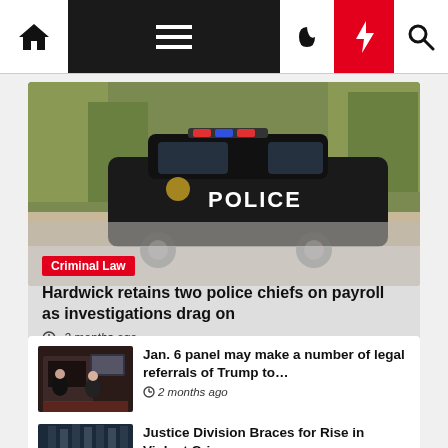Navigation bar with home, menu, night mode, breaking news, and search icons
[Figure (photo): Black Hardwick Police car parked on a leaf-covered road with autumn trees in background]
Criminal Law
Hardwick retains two police chiefs on payroll as investigations drag on
2 months ago
[Figure (photo): TV studio interview setting with two people seated at a desk]
Jan. 6 panel may make a number of legal referrals of Trump to…
2 months ago
[Figure (photo): Building exterior architectural shot]
Justice Division Braces for Rise in Violent Crime…